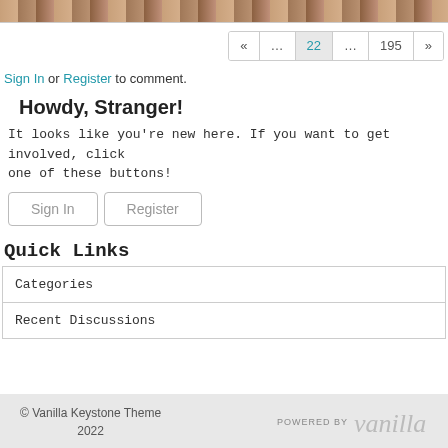[Figure (photo): Partial image strip showing a decorative wooden or tiled pattern at top of page]
« ... 22 ... 195 »
Sign In or Register to comment.
Howdy, Stranger!
It looks like you're new here. If you want to get involved, click one of these buttons!
Sign In   Register
Quick Links
| Categories |
| Recent Discussions |
© Vanilla Keystone Theme 2022  POWERED BY Vanilla